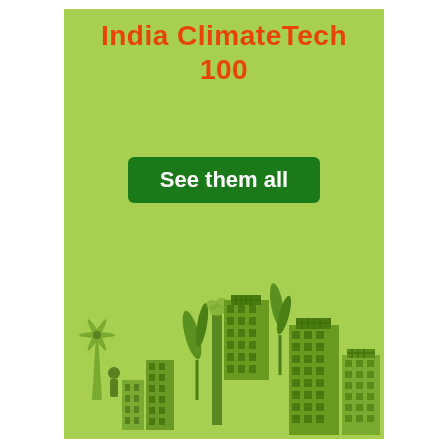India ClimateTech 100
[Figure (illustration): Green button with white text 'See them all' on a light green background]
[Figure (illustration): Silhouette illustration of a green city skyline with buildings, wind turbine, and trees on a light green background]